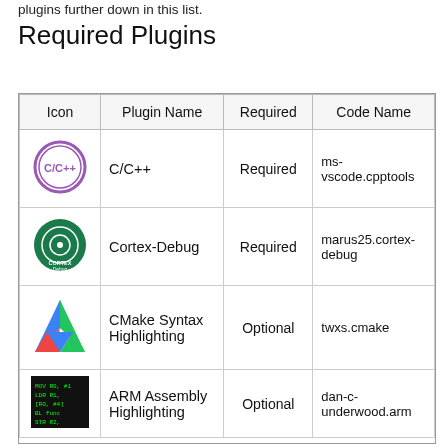plugins further down in this list.
Required Plugins
| Icon | Plugin Name | Required | Code Name |
| --- | --- | --- | --- |
| [C/C++ icon] | C/C++ | Required | ms-vscode.cpptools |
| [Cortex-Debug icon] | Cortex-Debug | Required | marus25.cortex-debug |
| [CMake icon] | CMake Syntax Highlighting | Optional | twxs.cmake |
| [ARM icon] | ARM Assembly Highlighting | Optional | dan-c-underwood.arm |